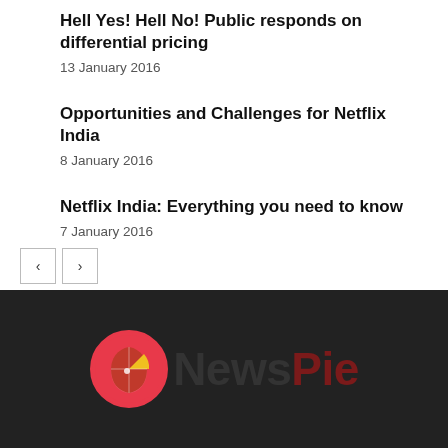Hell Yes! Hell No! Public responds on differential pricing
13 January 2016
Opportunities and Challenges for Netflix India
8 January 2016
Netflix India: Everything you need to know
7 January 2016
[Figure (logo): NewsPie logo: circular icon with India map silhouette in red/yellow/gold tones, followed by 'NewsPie' text in dark red on black background]